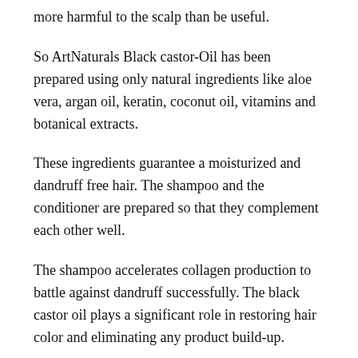more harmful to the scalp than be useful.
So ArtNaturals Black castor-Oil has been prepared using only natural ingredients like aloe vera, argan oil, keratin, coconut oil, vitamins and botanical extracts.
These ingredients guarantee a moisturized and dandruff free hair. The shampoo and the conditioner are prepared so that they complement each other well.
The shampoo accelerates collagen production to battle against dandruff successfully. The black castor oil plays a significant role in restoring hair color and eliminating any product build-up.
Key features-